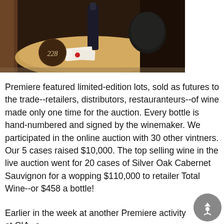[Figure (photo): Photo of a wine barrel serving tray with a dark wine bottle, a dark glass/cup, some cards and papers, and a dark circular marker labeled '228' in white italic numerals. The setting appears to be a wine auction or tasting event.]
Premiere featured limited-edition lots, sold as futures to the trade--retailers, distributors, restauranteurs--of wine made only one time for the auction. Every bottle is hand-numbered and signed by the winemaker. We participated in the online auction with 30 other vintners. Our 5 cases raised $10,000. The top selling wine in the live auction went for 20 cases of Silver Oak Cabernet Sauvignon for a wopping $110,000 to retailer Total Wine--or $458 a bottle!
Earlier in the week at another Premiere activity at CIA--a